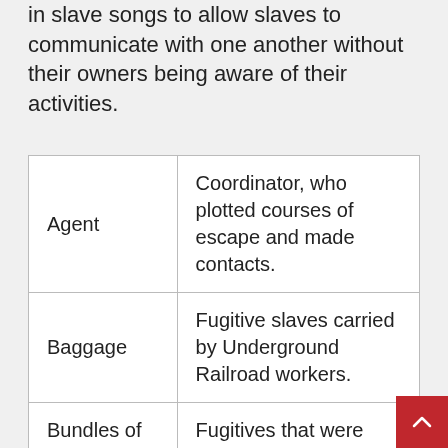in slave songs to allow slaves to communicate with one another without their owners being aware of their activities.
| Term | Meaning |
| --- | --- |
| Agent | Coordinator, who plotted courses of escape and made contacts. |
| Baggage | Fugitive slaves carried by Underground Railroad workers. |
| Bundles of wood | Fugitives that were expected. |
| Canaan | Canada |
| Conductor | Person who directly |